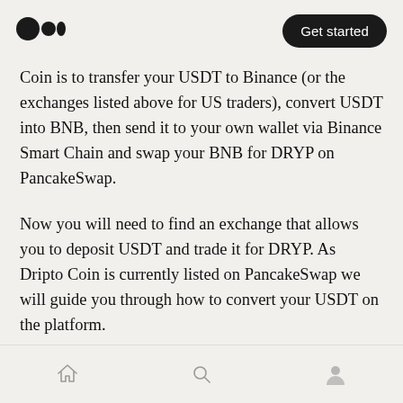[Figure (logo): Medium logo (two filled circles and a filled ellipse)]
Get started
Coin is to transfer your USDT to Binance (or the exchanges listed above for US traders), convert USDT into BNB, then send it to your own wallet via Binance Smart Chain and swap your BNB for DRYP on PancakeSwap.
Now you will need to find an exchange that allows you to deposit USDT and trade it for DRYP. As Dripto Coin is currently listed on PancakeSwap we will guide you through how to convert your USDT on the platform.
We’ll be using Binance, but there are many other
[Figure (infographic): Bottom navigation bar with home, search, and profile icons]